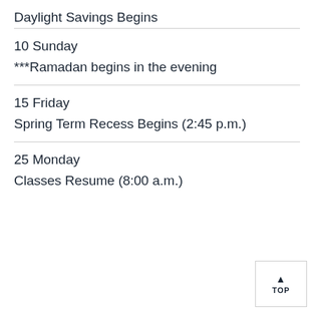Daylight Savings Begins
10 Sunday
***Ramadan begins in the evening
15 Friday
Spring Term Recess Begins (2:45 p.m.)
25 Monday
Classes Resume (8:00 a.m.)